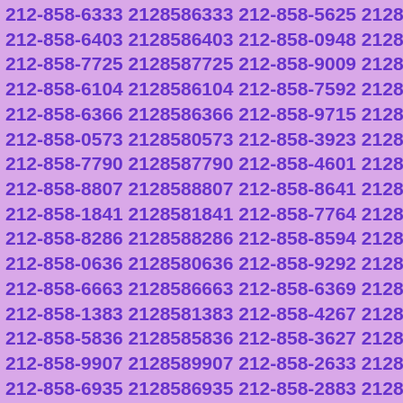212-858-6333 2128586333 212-858-5625 2128585625 212-858-6403 2128586403 212-858-0948 2128580948 212-858-7725 2128587725 212-858-9009 2128589009 212-858-6104 2128586104 212-858-7592 2128587592 212-858-6366 2128586366 212-858-9715 2128589715 212-858-0573 2128580573 212-858-3923 2128583923 212-858-7790 2128587790 212-858-4601 2128584601 212-858-8807 2128588807 212-858-8641 2128588641 212-858-1841 2128581841 212-858-7764 2128587764 212-858-8286 2128588286 212-858-8594 2128588594 212-858-0636 2128580636 212-858-9292 2128589292 212-858-6663 2128586663 212-858-6369 2128586369 212-858-1383 2128581383 212-858-4267 2128584267 212-858-5836 2128585836 212-858-3627 2128583627 212-858-9907 2128589907 212-858-2633 2128582633 212-858-6935 2128586935 212-858-2883 2128582883 212-858-1392 2128581392 212-858-0422 2128580422 212-858-7221 2128587221 212-858-0855 2128580855 212-858-8756 2128588756 212-858-5683 2128585683 212-858-9588 2128589588 212-858-2352 2128582352 212-858-2223 2128582223 212-858-9963 2128589963